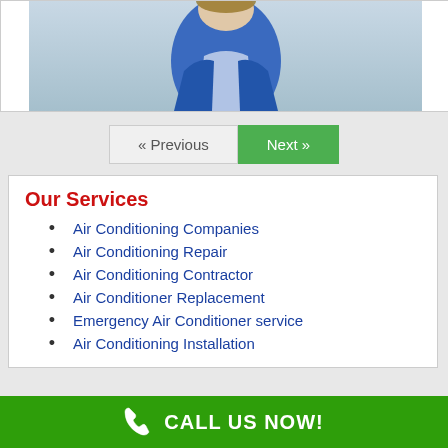[Figure (photo): Partial photo of a person in a blue uniform, cropped at the top of the page]
« Previous
Next »
Our Services
Air Conditioning Companies
Air Conditioning Repair
Air Conditioning Contractor
Air Conditioner Replacement
Emergency Air Conditioner service
Air Conditioning Installation
CALL US NOW!